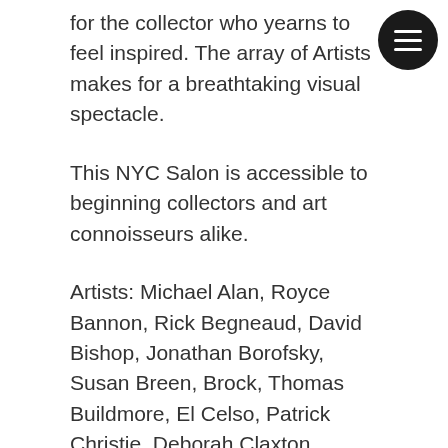for the collector who yearns to feel inspired. The array of Artists makes for a breathtaking visual spectacle.
This NYC Salon is accessible to beginning collectors and art connoisseurs alike.
Artists: Michael Alan, Royce Bannon, Rick Begneaud, David Bishop, Jonathan Borofsky, Susan Breen, Brock, Thomas Buildmore, El Celso, Patrick Christie, Deborah Claxton, Crash, Allan D'Arcangelo, Darkcloud, Jim Dine, Annette Davidek, Marisol Escobar, Natalie Edgar, Tommy Flynn, BK FOXX, Sybil Gibson, Richard Hambleton, Keith Haring, Sarah Hauser, Hiro Ichikawa, Robert Indiana, Infinity, Jean Kigel, Franz Kline, Walt Kuhn, LAll, Sol Lewitt, Roy